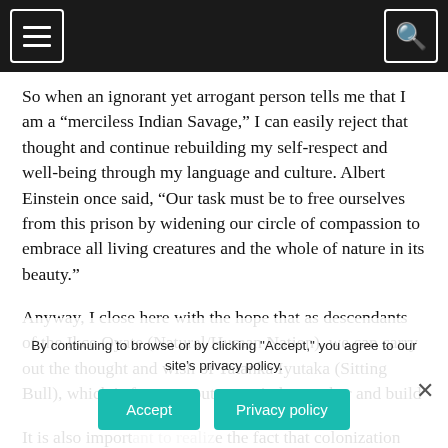[Navigation bar with menu and search icons]
So when an ignorant yet arrogant person tells me that I am a “merciless Indian Savage,” I can easily reject that thought and continue rebuilding my self-respect and well-being through my language and culture. Albert Einstein once said, “Our task must be to free ourselves from this prison by widening our circle of compassion to embrace all living creatures and the whole of nature in its beauty.”
Anyway, I close here with the hope that as descendants of the Ikce Oyate (Natural/Human Nation), we can carry out the thought and wish of Tatanka Iyutaka (Sitting Bull), which is for us to put our minds together and build
It is also import... to realiz... the fact that colonization nearly destroyed our ancestral ways. We
By continuing to browse or by clicking "Accept," you agree to our site’s privacy policy.